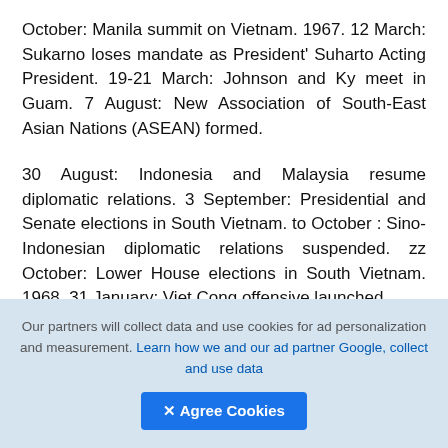October: Manila summit on Vietnam. 1967. 12 March: Sukarno loses mandate as President' Suharto Acting President. 19-21 March: Johnson and Ky meet in Guam. 7 August: New Association of South-East Asian Nations (ASEAN) formed.
30 August: Indonesia and Malaysia resume diplomatic relations. 3 September: Presidential and Senate elections in South Vietnam. to October : Sino-Indonesian diplomatic relations suspended. zz October: Lower House elections in South Vietnam. 1968. 31 January: Viet Cong offensive launched.
II
Our partners will collect data and use cookies for ad personalization and measurement. Learn how we and our ad partner Google, collect and use data   ✕ Agree Cookies